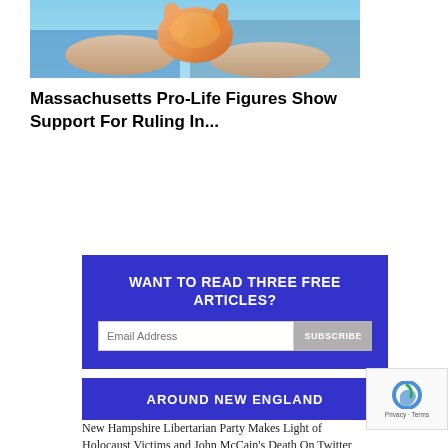[Figure (photo): A newborn baby being held, with warm orange/pink tones against a blue medical background.]
Massachusetts Pro-Life Figures Show Support For Ruling In...
[Figure (infographic): Blue subscription box with text 'WANT TO READ THREE FREE ARTICLES?' and an email input field with a SUBSCRIBE button.]
AROUND NEW ENGLAND
New Hampshire Libertarian Party Makes Light of Holocaust Victims and John McCain's Death On Twitter